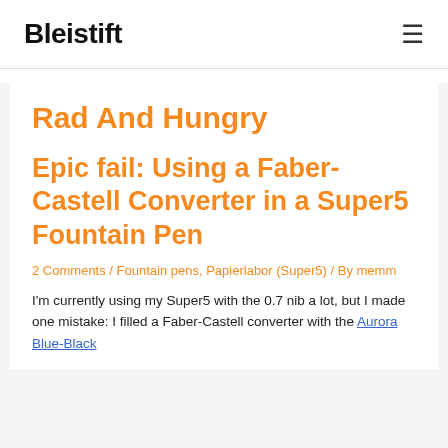Bleistift
Rad And Hungry
Epic fail: Using a Faber-Castell Converter in a Super5 Fountain Pen
2 Comments / Fountain pens, Papierlabor (Super5) / By memm
I'm currently using my Super5 with the 0.7 nib a lot, but I made one mistake: I filled a Faber-Castell converter with the Aurora Blue-Black...